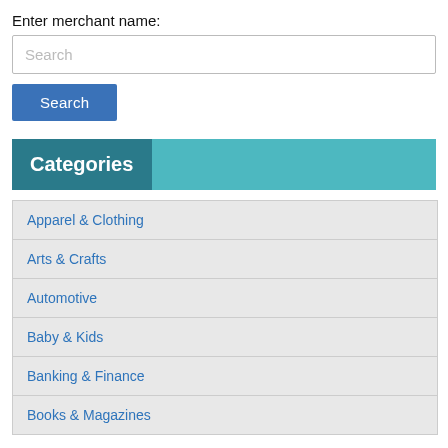Enter merchant name:
[Figure (screenshot): Search input field with placeholder text 'Search']
[Figure (screenshot): Blue 'Search' button]
Categories
Apparel & Clothing
Arts & Crafts
Automotive
Baby & Kids
Banking & Finance
Books & Magazines